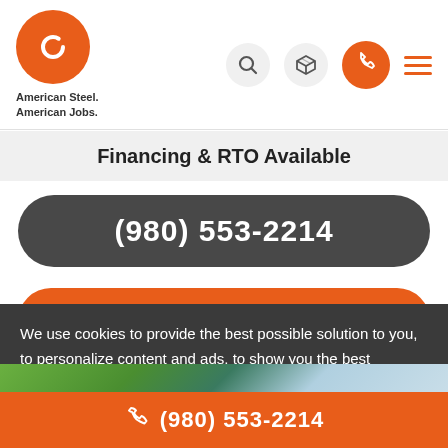[Figure (logo): American Steel Carports logo — orange circle with stylized C bracket, text 'American Steel. American Jobs.']
Financing & RTO Available
(980) 553-2214
REQUEST FOR QUOTE
We use cookies to provide the best possible solution to you, to personalize content and ads, to show you the best products or services you're looking for. For more details visit Privacy Policy.
OK, THANKS
[Figure (photo): Partial view of a steel carport structure outdoors]
(980) 553-2214